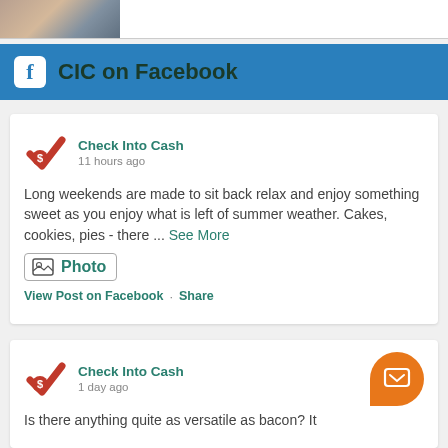[Figure (photo): Partial thumbnail image at top of page]
CIC on Facebook
[Figure (screenshot): Check Into Cash Facebook post from 11 hours ago: 'Long weekends are made to sit back relax and enjoy something sweet as you enjoy what is left of summer weather. Cakes, cookies, pies - there ... See More' with Photo link and View Post on Facebook / Share links]
[Figure (screenshot): Check Into Cash Facebook post from 1 day ago: 'Is there anything quite as versatile as bacon? It...' with orange message button]